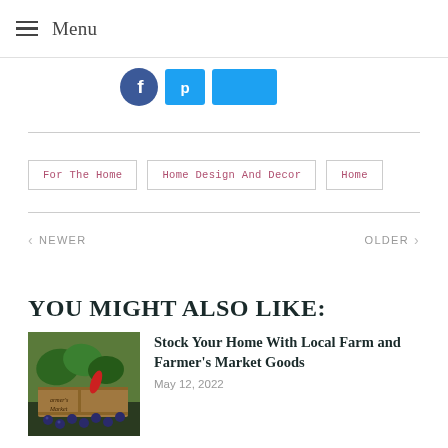Menu
[Figure (illustration): Social media icons: Facebook circle (blue), and two Twitter/Pinterest rectangular buttons (blue)]
For The Home
Home Design And Decor
Home
< NEWER    OLDER >
YOU MIGHT ALSO LIKE:
[Figure (photo): Thumbnail photo of vegetables and produce at a farmer's market, including greens and blueberries, with a wooden crate labeled farmer's market]
Stock Your Home With Local Farm and Farmer's Market Goods
May 12, 2022